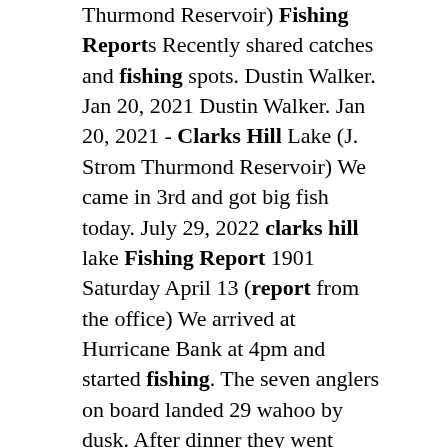Thurmond Reservoir) Fishing Reports Recently shared catches and fishing spots. Dustin Walker. Jan 20, 2021 Dustin Walker. Jan 20, 2021 - Clarks Hill Lake (J. Strom Thurmond Reservoir) We came in 3rd and got big fish today. July 29, 2022 clarks hill lake Fishing Report 1901 Saturday April 13 (report from the office) We arrived at Hurricane Bank at 4pm and started fishing. The seven anglers on board landed 29 wahoo by dusk. After dinner they went back out for an evening bite that lasted until 3am and picked up 27 tuna ranging from 90 - 198 lbs. July 29, 2022 clarks hill lake Fishing Report 1901 Saturday April 13 (report from the office) We arrived at Hurricane Bank at 4pm and started fishing. The seven anglers on board landed 29 wahoo by dusk. After dinner they went back out for an evening bite that lasted until 3am and picked up 27 tuna ranging from 90 - 198 lbs. May 4, 2022 clarks hill